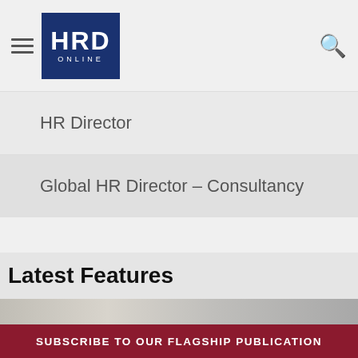HRD ONLINE
HR Director
Global HR Director – Consultancy
Latest Features
[Figure (photo): Blurred office desk scene with coffee mug, plant, and desk items]
SUBSCRIBE TO OUR FLAGSHIP PUBLICATION